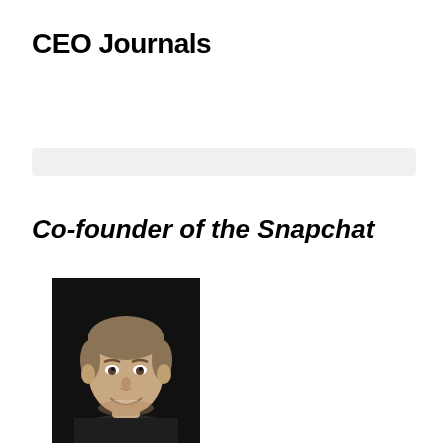CEO Journals
[Figure (other): Gray horizontal bar / divider element]
Co-founder of the Snapchat
[Figure (photo): Portrait photo of a young man with short brown hair, smiling, against a dark background — Evan Spiegel, co-founder of Snapchat]